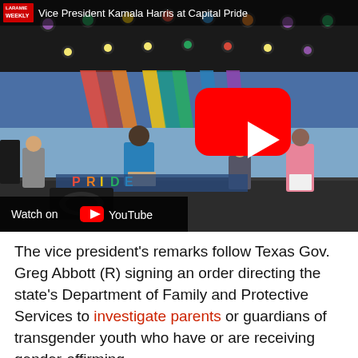[Figure (screenshot): YouTube video thumbnail showing Vice President Kamala Harris at Capital Pride event on stage with colorful lights and decorations. Multiple people visible on stage. YouTube play button overlay in center. 'Watch on YouTube' bar at bottom left. Header shows 'WEEKLY' badge in red and title text 'Vice President Kamala Harris at Capital Pride'.]
The vice president's remarks follow Texas Gov. Greg Abbott (R) signing an order directing the state's Department of Family and Protective Services to investigate parents or guardians of transgender youth who have or are receiving gender-affirming